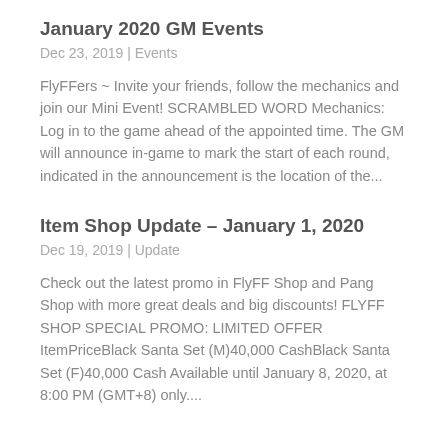January 2020 GM Events
Dec 23, 2019 | Events
FlyFFers ~ Invite your friends, follow the mechanics and join our Mini Event! SCRAMBLED WORD Mechanics: Log in to the game ahead of the appointed time. The GM will announce in-game to mark the start of each round, indicated in the announcement is the location of the...
Item Shop Update – January 1, 2020
Dec 19, 2019 | Update
Check out the latest promo in FlyFF Shop and Pang Shop with more great deals and big discounts! FLYFF SHOP SPECIAL PROMO: LIMITED OFFER ItemPriceBlack Santa Set (M)40,000 CashBlack Santa Set (F)40,000 Cash Available until January 8, 2020, at 8:00 PM (GMT+8) only....